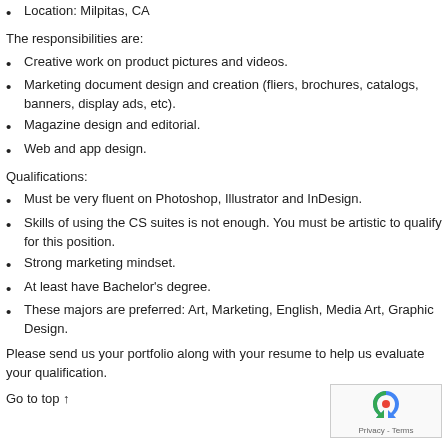Location: Milpitas, CA
The responsibilities are:
Creative work on product pictures and videos.
Marketing document design and creation (fliers, brochures, catalogs, banners, display ads, etc).
Magazine design and editorial.
Web and app design.
Qualifications:
Must be very fluent on Photoshop, Illustrator and InDesign.
Skills of using the CS suites is not enough. You must be artistic to qualify for this position.
Strong marketing mindset.
At least have Bachelor's degree.
These majors are preferred: Art, Marketing, English, Media Art, Graphic Design.
Please send us your portfolio along with your resume to help us evaluate your qualification.
Go to top ↑